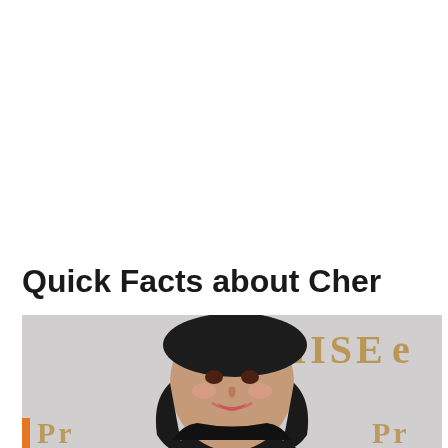Quick Facts about Cher
[Figure (photo): Photo of Cher at what appears to be a movie premiere or event, wearing a black outfit and black beret-style hat, with long dark wavy hair, smiling. Background shows 'PROMISE' text on a backdrop.]